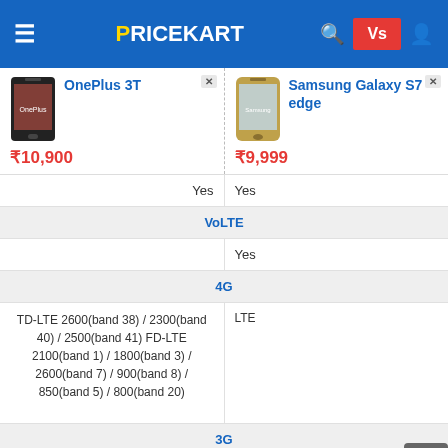PRICEKART
| OnePlus 3T | Samsung Galaxy S7 edge |
| --- | --- |
| ₹10,900 | ₹9,999 |
| Yes | Yes |
| VoLTE | VoLTE |
|  | Yes |
| 4G | 4G |
| TD-LTE 2600(band 38) / 2300(band 40) / 2500(band 41) FD-LTE 2100(band 1) / 1800(band 3) / 2600(band 7) / 900(band 8) / 850(band 5) / 800(band 20) | LTE |
| 3G | 3G |
| UMTS 1900 / 2100 / 850 / 900 MHz | HSDPA 850 / 900 / 1900 / 2100 |